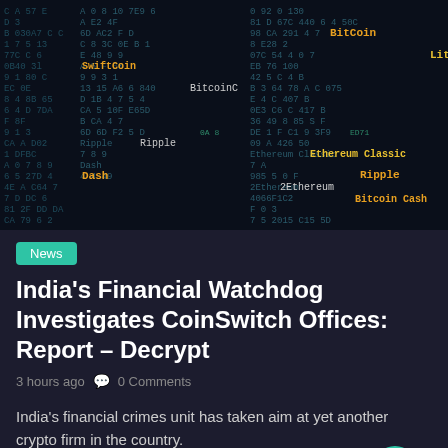[Figure (photo): Dark matrix-style background with hexadecimal/alphanumeric characters in teal/white and cryptocurrency names (Bitcoin, Litecoin, Dash, Ripple, Ethereum Classic, Ethereum, Bitcoin Cash, SwiftCoin) highlighted in orange/yellow text.]
News
India's Financial Watchdog Investigates CoinSwitch Offices: Report – Decrypt
3 hours ago  🗨 0 Comments
India's financial crimes unit has taken aim at yet another crypto firm in the country.
The Enforcement Directorate (ED) has reportedly accused CoinSwitch Kuber, one of India's largest crypto